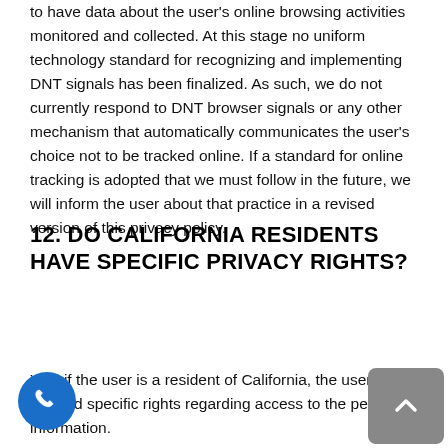to have data about the user's online browsing activities monitored and collected. At this stage no uniform technology standard for recognizing and implementing DNT signals has been finalized. As such, we do not currently respond to DNT browser signals or any other mechanism that automatically communicates the user's choice not to be tracked online. If a standard for online tracking is adopted that we must follow in the future, we will inform the user about that practice in a revised version of this privacy policy.
12. DO CALIFORNIA RESIDENTS HAVE SPECIFIC PRIVACY RIGHTS?
Yes, if the user is a resident of California, the user granted specific rights regarding access to the personal information.